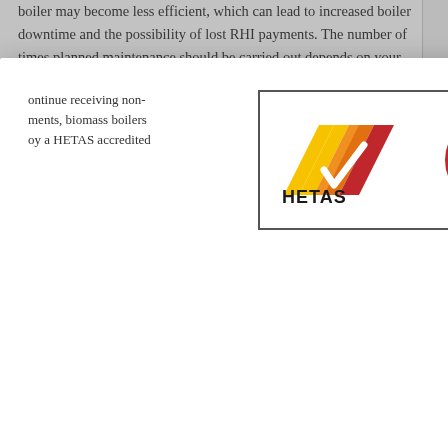boiler may become less efficient, which can lead to increased boiler downtime and the possibility of lost RHI payments. The number of times planned maintenance should be carried out depends on your organisations boiler usage levels, boiler types and boiler size. Our expert engineers will help assess
roved Biomass e Scheme
ontinue receiving non- ments, biomass boilers oy a HETAS accredited
[Figure (logo): HETAS Approved Biomass Maintenance logo showing stylized flame/chevron shapes in yellow, orange and red with HETAS text and circular approved biomass maintenance badge]
r FAQs
Cookie Settings   Accept
priority scheduling, spare parts discount, reduced emergency call-out rates